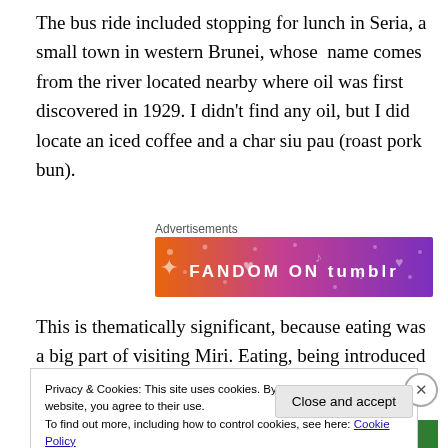The bus ride included stopping for lunch in Seria, a small town in western Brunei, whose  name comes from the river located nearby where oil was first discovered in 1929. I didn’t find any oil, but I did locate an iced coffee and a char siu pau (roast pork bun).
Advertisements
[Figure (illustration): Fandom on Tumblr advertisement banner with orange-to-purple gradient and music/heart decorations]
This is thematically significant, because eating was a big part of visiting Miri. Eating, being introduced to the
Privacy & Cookies: This site uses cookies. By continuing to use this website, you agree to their use.
To find out more, including how to control cookies, see here: Cookie Policy
Close and accept